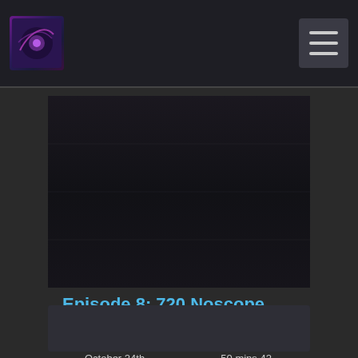[Figure (logo): Website logo with purple/dark galaxy-style background]
[Figure (illustration): Hamburger/menu icon button in dark gray box]
[Figure (screenshot): Dark video player area]
Episode 8: 720 Noscope Fire Punch
October 24th, 2018 | 50 mins 42 secs
anime, jojo, jojo's bizarre adventure, tv